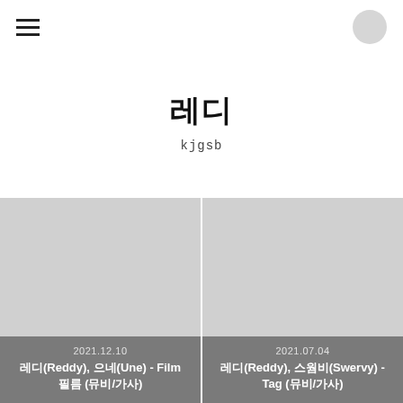≡  [avatar]
레디
kjgsb
[Figure (photo): Gray placeholder image thumbnail for 2021.12.10 post]
2021.12.10
레디(Reddy), 으네(Une) - Film 필름 (뮤비/가사)
[Figure (photo): Gray placeholder image thumbnail for 2021.07.04 post]
2021.07.04
레디(Reddy), 스웜비(Swervy) - Tag (뮤비/가사)